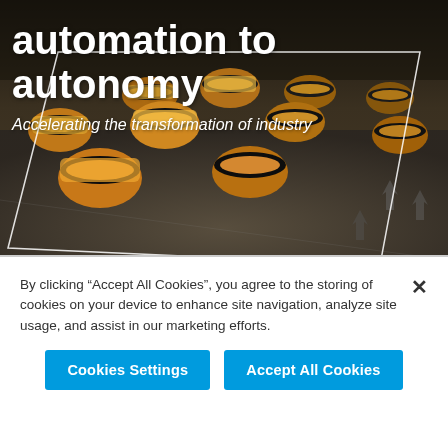[Figure (photo): Industrial warehouse/logistics facility with automated guided vehicles (AGVs) — circular yellow-and-dark robotic units on a floor, viewed from slightly above. Dark industrial environment with yellow highlights. White geometric diamond/parallelogram outline overlay on the image.]
automation to autonomy
Accelerating the transformation of industry
By clicking “Accept All Cookies”, you agree to the storing of cookies on your device to enhance site navigation, analyze site usage, and assist in our marketing efforts.
Cookies Settings
Accept All Cookies